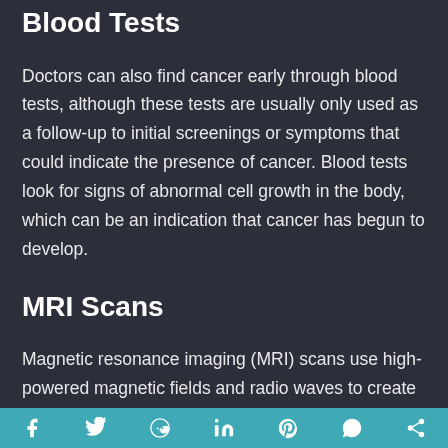Blood Tests
Doctors can also find cancer early through blood tests, although these tests are usually only used as a follow-up to initial screenings or symptoms that could indicate the presence of cancer. Blood tests look for signs of abnormal cell growth in the body, which can be an indication that cancer has begun to develop.
MRI Scans
Magnetic resonance imaging (MRI) scans use high-powered magnetic fields and radio waves to create images of organs and tissues within the body. MRI scans can be used very early to diagnose cancer in people with symptoms that could indicate its presence. Some
f  (twitter)  (reddit)  in  (pinterest)  (whatsapp)  (share)